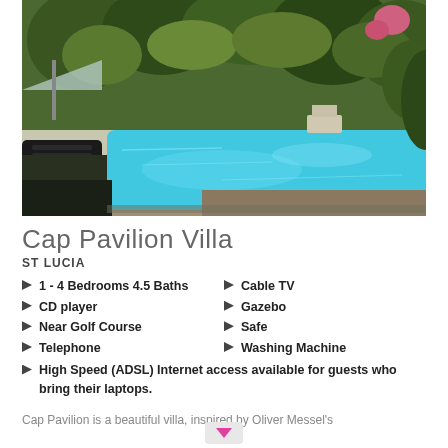[Figure (photo): Outdoor swimming pool surrounded by lush tropical garden with trees and foliage. A reclining chair and umbrella visible on the left, pool chairs in background.]
Cap Pavilion Villa
ST LUCIA
1 - 4 Bedrooms 4.5 Baths
Cable TV
CD player
Gazebo
Near Golf Course
Safe
Telephone
Washing Machine
High Speed (ADSL) Internet access available for guests who bring their laptops.
Cap Pavilion is a beautiful villa, inspired by Oliver Messel's